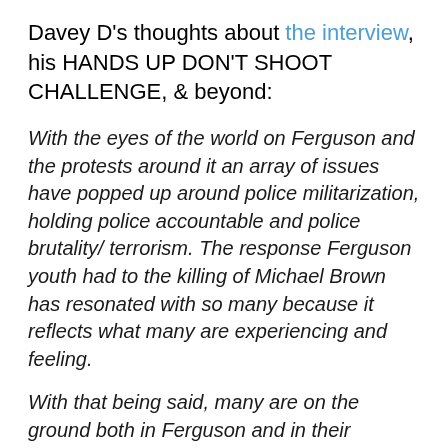Davey D's thoughts about the interview, his HANDS UP DON'T SHOOT CHALLENGE, & beyond:
With the eyes of the world on Ferguson and the protests around it an array of issues have popped up around police militarization, holding police accountable and police brutality/ terrorism. The response Ferguson youth had to the killing of Michael Brown has resonated with so many because it reflects what many are experiencing and feeling.
With that being said, many are on the ground both in Ferguson and in their respective communities all over the country organizing and strategizing as to what's the next steps?
Some are organizing patrols, armed with cameras and information about people's rights about stop and how di...